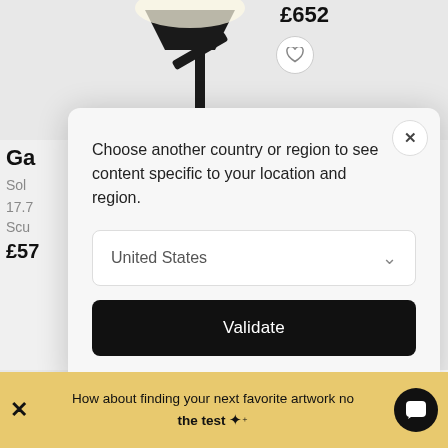[Figure (screenshot): Partial view of a product listing page with a lamp image and price £652 at top, partially visible product info on left (Ga..., Sol..., 17.7..., Scu..., £57...)]
[Figure (screenshot): Modal dialog: 'Choose another country or region to see content specific to your location and region.' with United States dropdown and Validate button, and X close button]
Choose another country or region to see content specific to your location and region.
United States
Validate
[Figure (screenshot): Product card below modal: Artsy logo placeholder image with heart icon, product info for Gaël Rouxeville]
Gaël Rouxeville
Sortir du Cadre, 2019
25.2 x 18.9 x 14.6 inch
Sculpture
£4,357
How about finding your next favorite artwork now the test ✦
[Figure (screenshot): Bottom yellow/gold notification bar with X close button, text, and chat bubble icon]